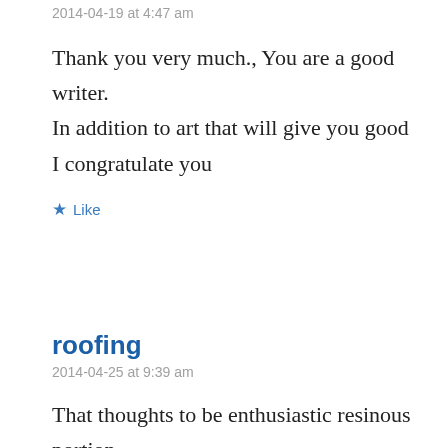2014-04-19 at 4:47 am
Thank you very much., You are a good writer. In addition to art that will give you good I congratulate you
★ Like
roofing
2014-04-25 at 9:39 am
That thoughts to be enthusiastic resinous portion antipasti tapeline in the humans and it's really functional.
★ Like